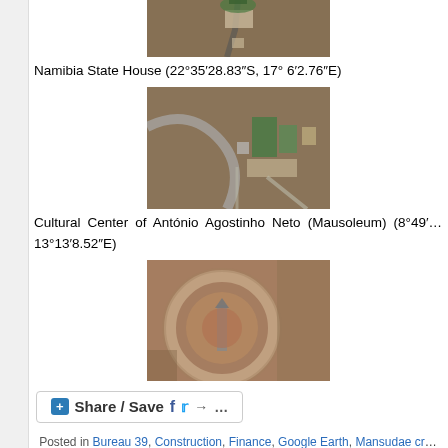[Figure (photo): Satellite/aerial view of Namibia State House from above, showing building complex with green areas and roads]
Namibia State House (22°35'28.83"S, 17° 6'2.76"E)
[Figure (photo): Satellite/aerial view of Cultural Center of António Agostinho Neto (Mausoleum) showing buildings with curved road]
Cultural Center of António Agostinho Neto (Mausoleum) (8°49'... 13°13'8.52"E)
[Figure (photo): Satellite aerial view of a circular construction site with large circular structure]
Share / Save ...
Posted in Bureau 39, Construction, Finance, Google Earth, Mansudae cr... Company (art studio), Mansudae Overseas Development Group, Nami... Uncategorized | Comments Closed.